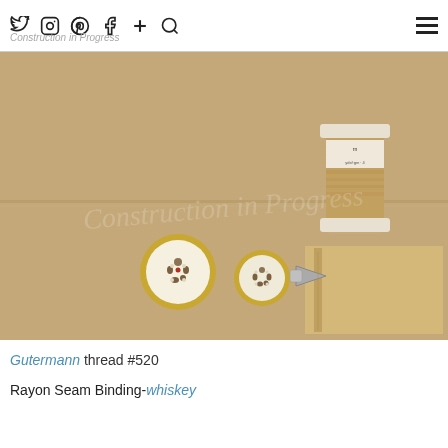Twitter Instagram Pinterest Facebook + Search | Construction in Progress
[Figure (photo): Flat lay on burlap/linen fabric showing sewing notions: a spool of Gutermann thread #520 (tan/khaki color) in upper right, two decorative buttons with gold rims and floral pattern at bottom center-left, and a tan zipper at bottom right.]
Gutermann thread #520
Rayon Seam Binding- whiskey